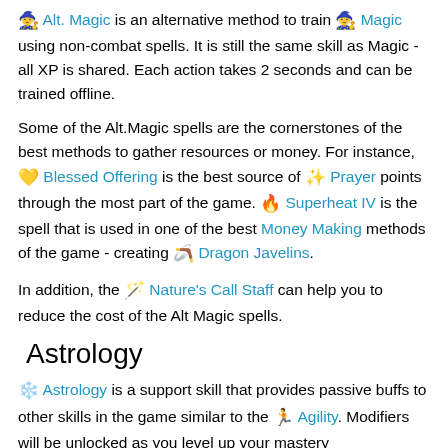🧙 Alt. Magic is an alternative method to train 🧙 Magic using non-combat spells. It is still the same skill as Magic - all XP is shared. Each action takes 2 seconds and can be trained offline.
Some of the Alt.Magic spells are the cornerstones of the best methods to gather resources or money. For instance, 💛 Blessed Offering is the best source of ✨ Prayer points through the most part of the game. 🔥 Superheat IV is the spell that is used in one of the best Money Making methods of the game - creating 🪃 Dragon Javelins.
In addition, the 🪄 Nature's Call Staff can help you to reduce the cost of the Alt Magic spells.
Astrology
❄️ Astrology is a support skill that provides passive buffs to other skills in the game similar to the 🏃 Agility. Modifiers will be unlocked as you level up your mastery